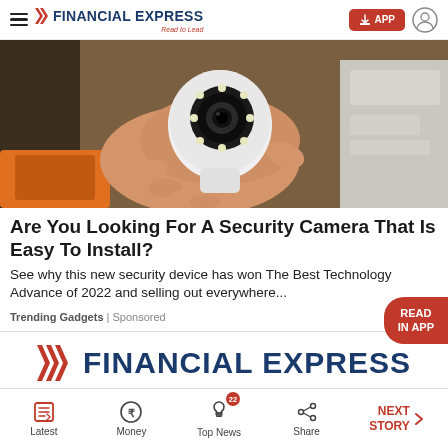FINANCIAL EXPRESS — Read to Lead
[Figure (photo): A hand holding a small white security camera with LED ring and lens, with packaging visible in background]
Are You Looking For A Security Camera That Is Easy To Install?
See why this new security device has won The Best Technology Advance of 2022 and selling out everywhere...
Trending Gadgets | Sponsored
[Figure (logo): Financial Express logo — Read to Lead]
Latest | Money | Top News (22) | Share | NEXT STORY